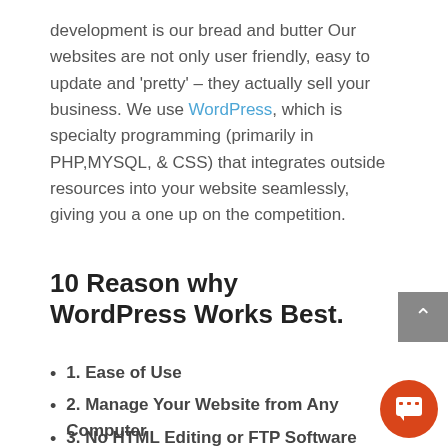development is our bread and butter Our websites are not only user friendly, easy to update and 'pretty' – they actually sell your business. We use WordPress, which is specialty programming (primarily in PHP,MYSQL, & CSS) that integrates outside resources into your website seamlessly, giving you a one up on the competition.
10 Reason why WordPress Works Best.
1. Ease of Use
2. Manage Your Website from Any Computer
3. No HTML Editing or FTP Software